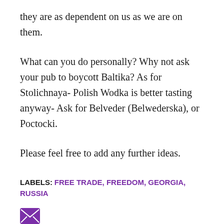they are as dependent on us as we are on them.
What can you do personally? Why not ask your pub to boycott Baltika? As for Stolichnaya- Polish Wodka is better tasting anyway- Ask for Belveder (Belwederska), or Poctocki.
Please feel free to add any further ideas.
LABELS: FREE TRADE, FREEDOM, GEORGIA, RUSSIA
[Figure (illustration): Purple email envelope icon]
SHARE
Comments